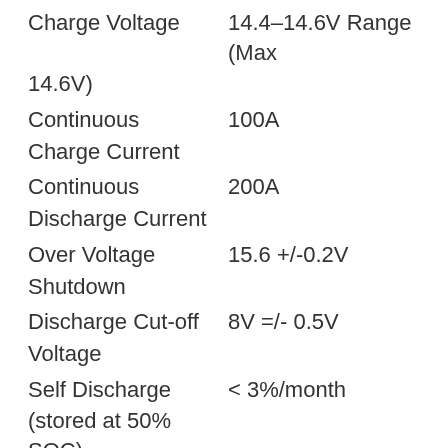Charge Voltage    14.4–14.6V Range (Max 14.6V)
Continuous Charge Current    100A
Continuous Discharge Current    200A
Over Voltage Shutdown    15.6 +/-0.2V
Discharge Cut-off Voltage    8V =/- 0.5V
Self Discharge (stored at 50% SOC)    < 3%/month
Waterproof    IP65
Temperature Performance
Charge    32° F to 140° F